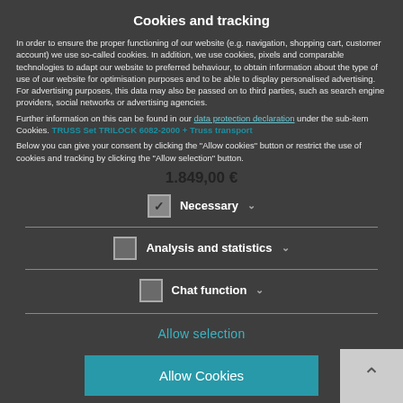Cookies and tracking
In order to ensure the proper functioning of our website (e.g. navigation, shopping cart, customer account) we use so-called cookies. In addition, we use cookies, pixels and comparable technologies to adapt our website to preferred behaviour, to obtain information about the type of use of our website for optimisation purposes and to be able to display personalised advertising. For advertising purposes, this data may also be passed on to third parties, such as search engine providers, social networks or advertising agencies.
Further information on this can be found in our data protection declaration under the sub-item Cookies.
TRUSS Set TRILOCK 6082-2000 + Truss transport
Below you can give your consent by clicking the "Allow cookies" button or restrict the use of cookies and tracking by clicking the "Allow selection" button.
1.849,00 €
Necessary
Analysis and statistics
Chat function
Allow selection
Allow Cookies